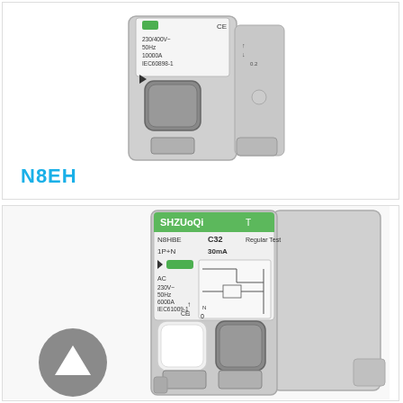[Figure (photo): Photo of N8EH single-pole miniature circuit breaker (MCB) with gray housing, showing label: 230/400V~ 50Hz 10000A IEC60898-1, green indicator, CE mark]
N8EH
[Figure (photo): Photo of SHZUOQI N8HBE circuit breaker, C32, 1P+N, 30mA, AC type, 230V~ 50Hz 6000A IEC61009-1, Regular Test, CE mark, with wiring diagram on label. Shows two-pole device with gray and white housing, plus a scroll-up navigation button overlay.]